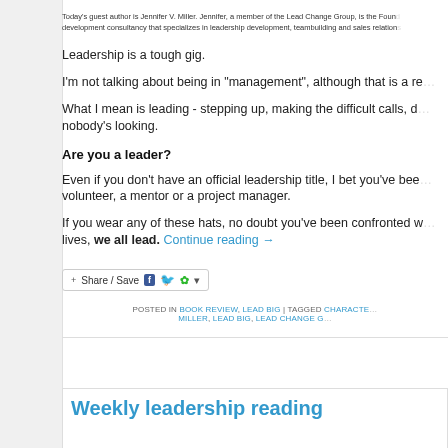Today's guest author is Jennifer V. Miller. Jennifer, a member of the Lead Change Group, is the Founder of a leadership development consultancy that specializes in leadership development, teambuilding and sales relations...
Leadership is a tough gig.
I'm not talking about being in “management”, although that is a re...
What I mean is leading - stepping up, making the difficult calls, d... nobody's looking.
Are you a leader?
Even if you don’t have an official leadership title, I bet you’ve bee... volunteer, a mentor or a project manager.
If you wear any of these hats, no doubt you've been confronted w... lives, we all lead. Continue reading →
[Figure (other): Share/Save social sharing button bar with Facebook, Twitter, and other icons]
POSTED IN BOOK REVIEW, LEAD BIG | TAGGED CHARACTE... MILLER, LEAD BIG, LEAD CHANGE G...
Weekly leadership reading